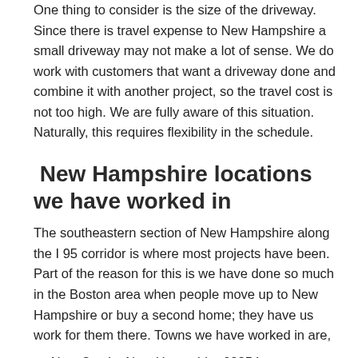One thing to consider is the size of the driveway. Since there is travel expense to New Hampshire a small driveway may not make a lot of sense. We do work with customers that want a driveway done and combine it with another project, so the travel cost is not too high. We are fully aware of this situation. Naturally, this requires flexibility in the schedule.
New Hampshire locations we have worked in
The southeastern section of New Hampshire along the I 95 corridor is where most projects have been. Part of the reason for this is we have done so much in the Boston area when people move up to New Hampshire or buy a second home; they have us work for them there. Towns we have worked in are,
New Castle, New Hampshire 03854